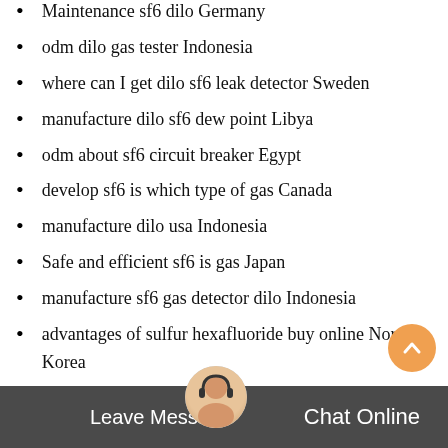Maintenance sf6 dilo Germany
odm dilo gas tester Indonesia
where can I get dilo sf6 leak detector Sweden
manufacture dilo sf6 dew point Libya
odm about sf6 circuit breaker Egypt
develop sf6 is which type of gas Canada
manufacture dilo usa Indonesia
Safe and efficient sf6 is gas Japan
manufacture sf6 gas detector dilo Indonesia
advantages of sulfur hexafluoride buy online North Korea
oem sf6 gas price Denmark
new type high voltage sf6 circuit breaker Colombia
Quantitative sf6 filled equipment United Kingdom
iso Leave Messageal Canada
Leave Message   Chat Online